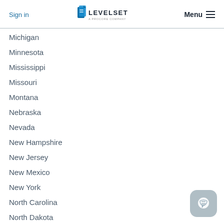Sign in | LEVELSET A PROCORE COMPANY | Menu
Michigan
Minnesota
Mississippi
Missouri
Montana
Nebraska
Nevada
New Hampshire
New Jersey
New Mexico
New York
North Carolina
North Dakota